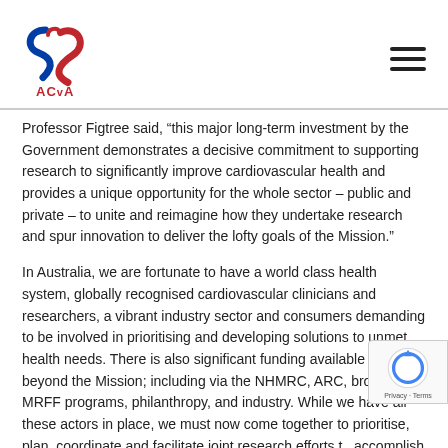[Figure (logo): ACvA Australian Cardiovascular Alliance logo with stylized heart shape in red and blue]
Professor Figtree said, “this major long-term investment by the Government demonstrates a decisive commitment to supporting research to significantly improve cardiovascular health and provides a unique opportunity for the whole sector – public and private – to unite and reimagine how they undertake research and spur innovation to deliver the lofty goals of the Mission.”
In Australia, we are fortunate to have a world class health system, globally recognised cardiovascular clinicians and researchers, a vibrant industry sector and consumers demanding to be involved in prioritising and developing solutions to unmet health needs. There is also significant funding available from beyond the Mission; including via the NHMRC, ARC, broader MRFF programs, philanthropy, and industry. While we have all these actors in place, we must now come together to prioritise, plan, coordinate and facilitate joint research efforts to accomplish the Mission goals.
There is also a significant opportunity for the public expenditure to be